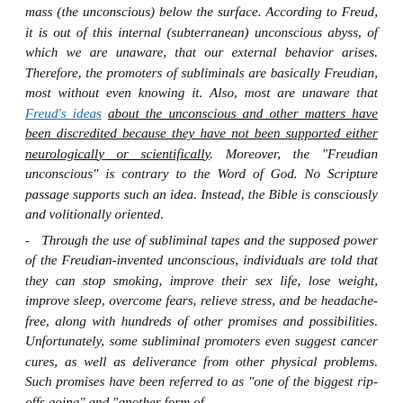mass (the unconscious) below the surface. According to Freud, it is out of this internal (subterranean) unconscious abyss, of which we are unaware, that our external behavior arises. Therefore, the promoters of subliminals are basically Freudian, most without even knowing it. Also, most are unaware that Freud's ideas about the unconscious and other matters have been discredited because they have not been supported either neurologically or scientifically. Moreover, the "Freudian unconscious" is contrary to the Word of God. No Scripture passage supports such an idea. Instead, the Bible is consciously and volitionally oriented.
- Through the use of subliminal tapes and the supposed power of the Freudian-invented unconscious, individuals are told that they can stop smoking, improve their sex life, lose weight, improve sleep, overcome fears, relieve stress, and be headache-free, along with hundreds of other promises and possibilities. Unfortunately, some subliminal promoters even suggest cancer cures, as well as deliverance from other physical problems. Such promises have been referred to as "one of the biggest rip-offs going" and "another form of